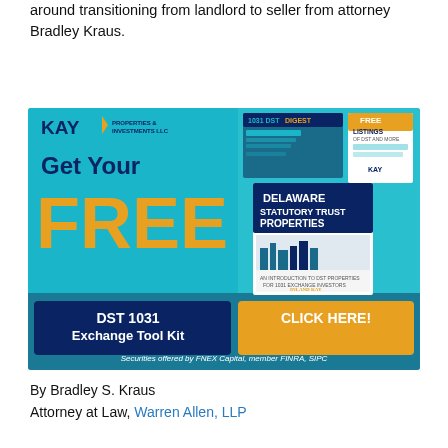around transitioning from landlord to seller from attorney Bradley Kraus.
[Figure (infographic): Kay Properties & Investments LLC advertisement for a free DST 1031 Exchange Tool Kit. Features dark navy and teal background with large orange 'FREE' text, images of books including 'Delaware Statutory Trust Properties' and '1031 DST Digest', a 'CLICK HERE!' button, and disclaimer 'Securities offered by FNEX Capital, member FINRA, SIPC'.]
By Bradley S. Kraus
Attorney at Law, Warren Allen, LLP